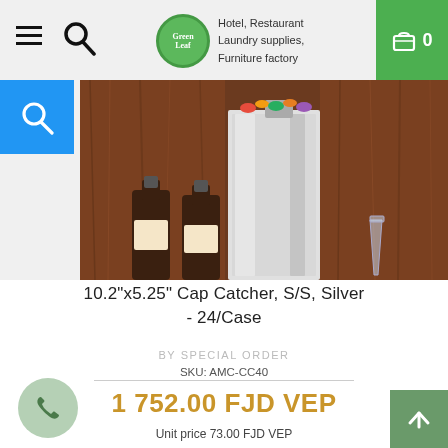Hotel, Restaurant Laundry supplies, Furniture factory — Cart: 0
[Figure (photo): Product photo of a stainless steel cap catcher mounted between wooden panels, with two dark glass bottles on the left and a glass on the right, colored bottle caps visible at the top]
10.2"x5.25" Cap Catcher, S/S, Silver - 24/Case
BY SPECIAL ORDER
SKU: AMC-CC40
1 752.00 FJD VEP
Unit price 73.00 FJD VEP